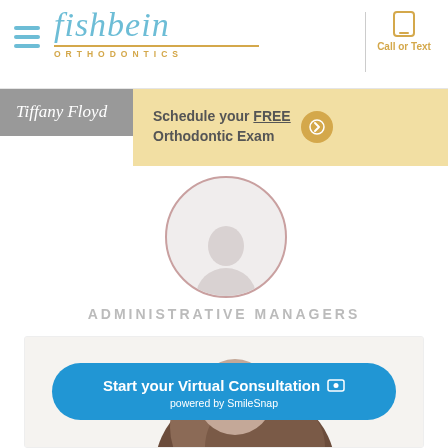[Figure (logo): Fishbein Orthodontics logo with teal cursive text and gold underline and subtitle]
[Figure (infographic): Call or Text button with phone icon on right side of header]
Tiffany Floyd
Schedule your FREE Orthodontic Exam
[Figure (photo): Circular staff profile photo placeholder]
ADMINISTRATIVE MANAGERS
[Figure (photo): Staff member photo - woman with dark hair, partial view]
Start your Virtual Consultation  powered by SmileSnap